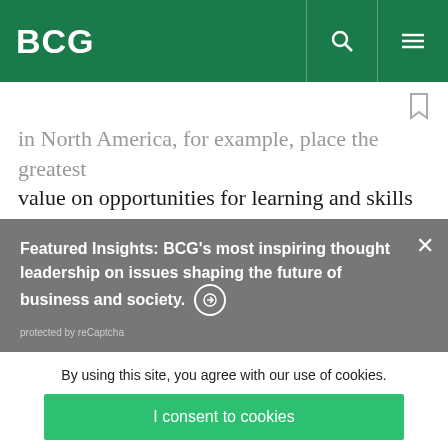BCG
in North America, for example, place the greatest value on opportunities for learning and skills
Featured Insights: BCG's most inspiring thought leadership on issues shaping the future of business and society. →
protected by reCaptcha
By using this site, you agree with our use of cookies.
I consent to cookies
Want to know more?
Read our Cookie Policy